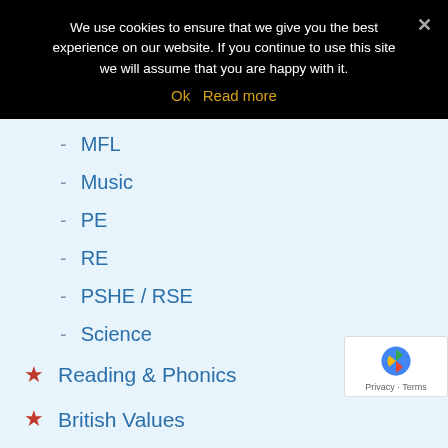We use cookies to ensure that we give you the best experience on our website. If you continue to use this site we will assume that you are happy with it.
Ok   Read more
MFL
Music
PE
RE
PSHE / RSE
Science
Reading & Phonics
British Values
SMSC